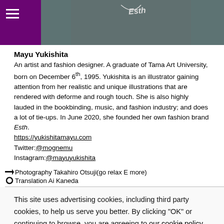[Figure (photo): Top banner: purple sidebar with hamburger menu icon on left, photo of person wearing dark knit sweater with a necklace on right]
Mayu Yukishita
An artist and fashion designer. A graduate of Tama Art University, born on December 6th, 1995. Yukishita is an illustrator gaining attention from her realistic and unique illustrations that are rendered with deforme and rough touch. She is also highly lauded in the bookbinding, music, and fashion industry; and does a lot of tie-ups. In June 2020, she founded her own fashion brand Esth.
https://yukishitamayu.com
Twitter:@mognemu
Instagram:@mayuyukishita
Photography Takahiro Otsuji(go relax E more)
Translation Ai Kaneda
This site uses advertising cookies, including third party cookies, to help us serve you better. By clicking "OK" or continuing to browse, you are agreeing to our cookie policy.
OK